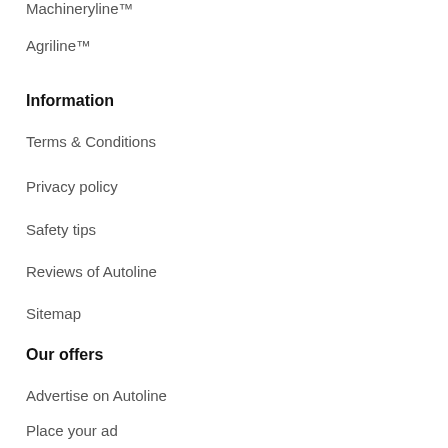Machineryline™
Agriline™
Information
Terms & Conditions
Privacy policy
Safety tips
Reviews of Autoline
Sitemap
Our offers
Advertise on Autoline
Place your ad
Place a banner